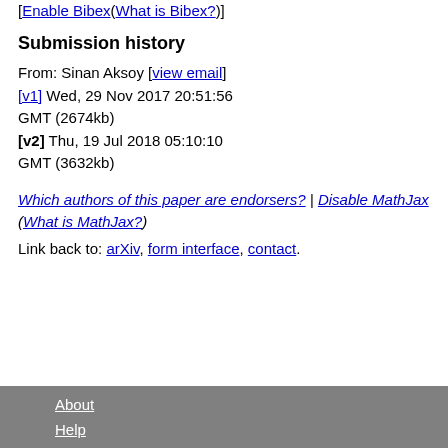[Enable Bibex(What is Bibex?)]
Submission history
From: Sinan Aksoy [view email]
[v1] Wed, 29 Nov 2017 20:51:56 GMT (2674kb)
[v2] Thu, 19 Jul 2018 05:10:10 GMT (3632kb)
Which authors of this paper are endorsers? | Disable MathJax (What is MathJax?)
Link back to: arXiv, form interface, contact.
About
Help